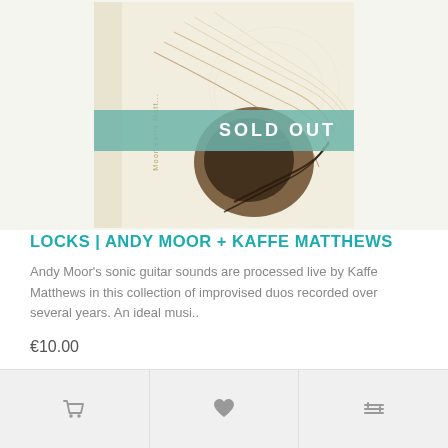[Figure (photo): Album cover for 'Locks' by Andy Moor + Kaffe Matthews showing a close-up of hair strands on a light background, with a teal 'SOLD OUT' ribbon banner across the middle]
LOCKS | ANDY MOOR + KAFFE MATTHEWS
Andy Moor's sonic guitar sounds are processed live by Kaffe Matthews in this collection of improvised duos recorded over several years. An ideal musi..
€10.00